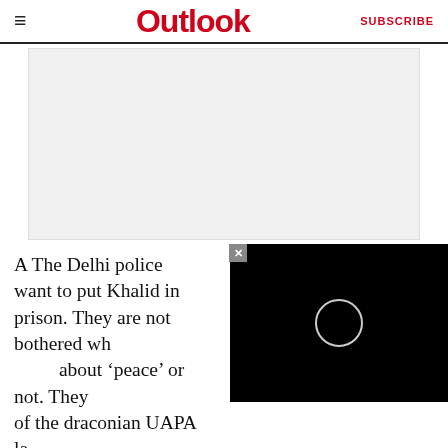Outlook — SUBSCRIBE
[Figure (other): Gray advertisement/placeholder box]
A The Delhi police want to put Khalid in prison. They are not bothered wh... about 'peace' or not. They... of the draconian UAPA la...
[Figure (other): Black video overlay with circular loading/play indicator and close button]
Q In your letter, you sai...